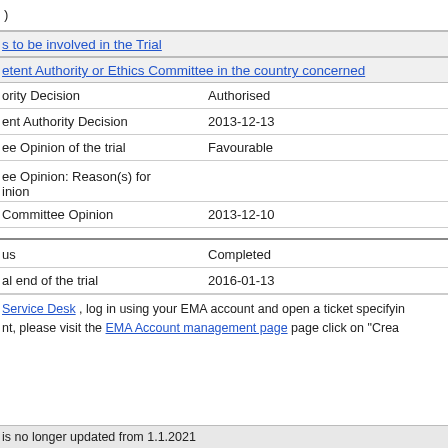| ) |  |
s to be involved in the Trial
etent Authority or Ethics Committee in the country concerned
| ority Decision | Authorised |
| ent Authority Decision | 2013-12-13 |
| ee Opinion of the trial | Favourable |
| ee Opinion: Reason(s) for
inion |  |
| Committee Opinion | 2013-12-10 |
| us | Completed |
| al end of the trial | 2016-01-13 |
Service Desk , log in using your EMA account and open a ticket specifying
nt, please visit the EMA Account management page page click on "Crea
is no longer updated from 1.1.2021